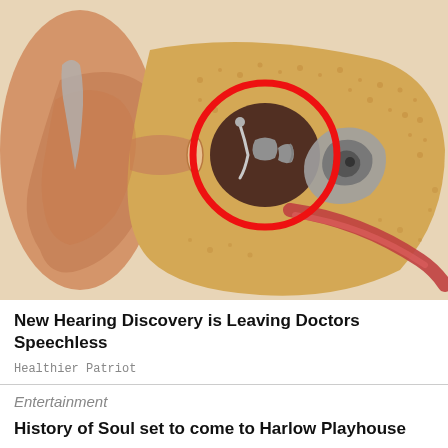[Figure (illustration): Cross-sectional anatomical illustration of a human ear showing inner ear structures. A red circle highlights the ossicles (small bones) in the middle ear area. The image shows the ear canal, eardrum, ossicles, cochlea, and surrounding tissue in detailed medical illustration style.]
New Hearing Discovery is Leaving Doctors Speechless
Healthier Patriot
Entertainment
History of Soul set to come to Harlow Playhouse
Read More